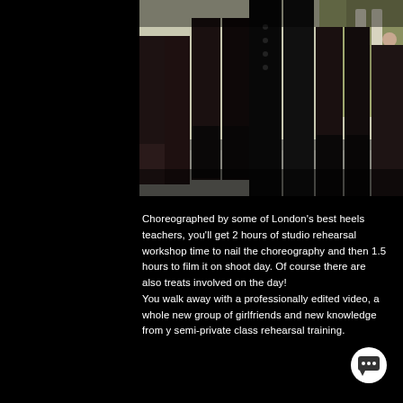[Figure (photo): Cropped photograph showing legs of multiple dancers wearing high heels, fishnet stockings, and black boots, posed outdoors on a sunny day.]
Choreographed by some of London's best heels teachers, you'll get 2 hours of studio rehearsal workshop time to nail the choreography and then 1.5 hours to film it on shoot day. Of course there are also treats involved on the day!
You walk away with a professionally edited video, a whole new group of girlfriends and new knowledge from y semi-private class rehearsal training.